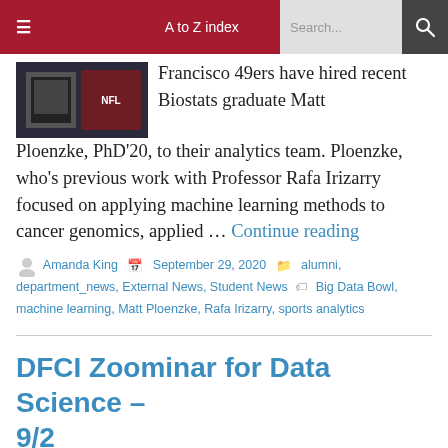≡   A to Z index   Search...   🔍
[Figure (photo): Photo showing NFL Super Bowl branding with a dark background and illuminated display]
Francisco 49ers have hired recent Biostats graduate Matt Ploenzke, PhD'20, to their analytics team. Ploenzke, who's previous work with Professor Rafa Irizarry focused on applying machine learning methods to cancer genomics, applied … Continue reading
Amanda King   September 29, 2020   alumni, department_news, External News, Student News   Big Data Bowl, machine learning, Matt Ploenzke, Rafa Irizarry, sports analytics
DFCI Zoominar for Data Science – 9/2